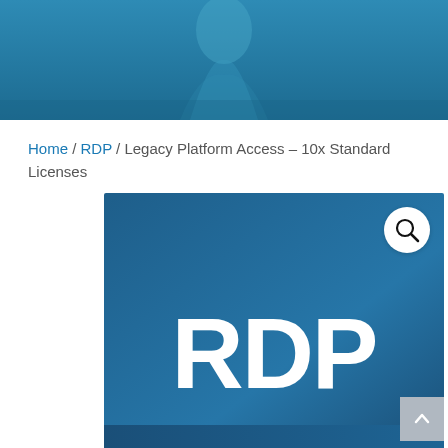[Figure (photo): Header banner with teal/blue background and a faint abstract figure silhouette]
Home / RDP / Legacy Platform Access – 10x Standard Licenses
[Figure (illustration): Product image with blue gradient background and large white RDP text, with a magnify search icon in top right corner]